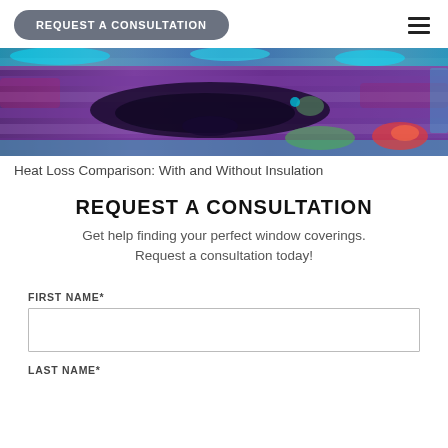REQUEST A CONSULTATION
[Figure (photo): Thermal infrared image showing heat loss comparison with and without insulation, featuring purple, blue, cyan, green, red and black color gradients indicating temperature differences across a building surface.]
Heat Loss Comparison: With and Without Insulation
REQUEST A CONSULTATION
Get help finding your perfect window coverings.
Request a consultation today!
FIRST NAME*
LAST NAME*